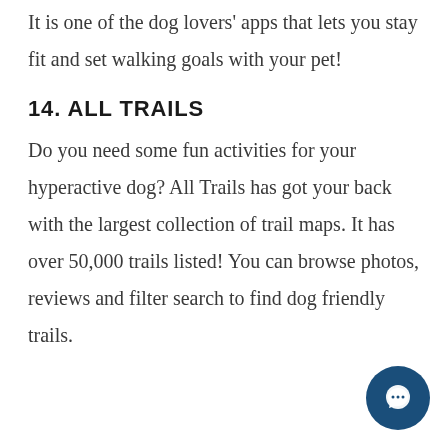It is one of the dog lovers' apps that lets you stay fit and set walking goals with your pet!
14. ALL TRAILS
Do you need some fun activities for your hyperactive dog? All Trails has got your back with the largest collection of trail maps. It has over 50,000 trails listed! You can browse photos, reviews and filter search to find dog friendly trails.
[Figure (illustration): Dark blue circular chat bubble icon in the bottom-right corner of the page.]